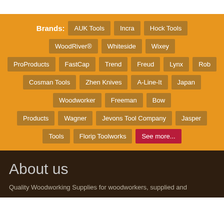Brands: AUK Tools  Incra  Hock Tools  WoodRiver®  Whiteside  Wixey  ProProducts  FastCap  Trend  Freud  Lynx  Rob  Cosman Tools  Zhen Knives  A-Line-It  Japan  Woodworker  Freeman  Bow  Products  Wagner  Jevons Tool Company  Jasper  Tools  Florip Toolworks  See more...
About us
Quality Woodworking Supplies for woodworkers, supplied and